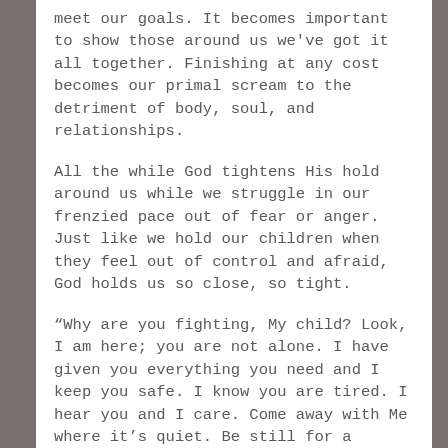meet our goals. It becomes important to show those around us we've got it all together. Finishing at any cost becomes our primal scream to the detriment of body, soul, and relationships.
All the while God tightens His hold around us while we struggle in our frenzied pace out of fear or anger. Just like we hold our children when they feel out of control and afraid, God holds us so close, so tight.
“Why are you fighting, My child? Look, I am here; you are not alone. I have given you everything you need and I keep you safe. I know you are tired. I hear you and I care. Come away with Me where it’s quiet. Be still for a moment. Breathe. Remember that I love you. Rest here.”